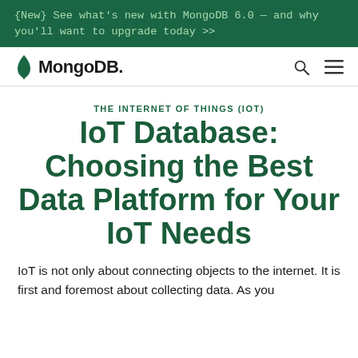{New} See what's new with MongoDB 6.0 — and why you'll want to upgrade today >>
[Figure (logo): MongoDB logo with green leaf icon and bold MongoDB. text]
THE INTERNET OF THINGS (IOT)
IoT Database: Choosing the Best Data Platform for Your IoT Needs
IoT is not only about connecting objects to the internet. It is first and foremost about collecting data. As you